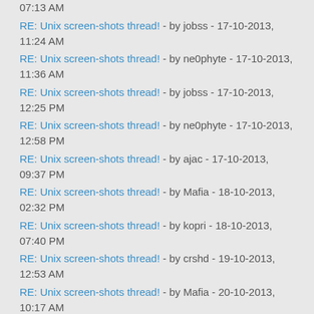07:13 AM
RE: Unix screen-shots thread! - by jobss - 17-10-2013, 11:24 AM
RE: Unix screen-shots thread! - by ne0phyte - 17-10-2013, 11:36 AM
RE: Unix screen-shots thread! - by jobss - 17-10-2013, 12:25 PM
RE: Unix screen-shots thread! - by ne0phyte - 17-10-2013, 12:58 PM
RE: Unix screen-shots thread! - by ajac - 17-10-2013, 09:37 PM
RE: Unix screen-shots thread! - by Mafia - 18-10-2013, 02:32 PM
RE: Unix screen-shots thread! - by kopri - 18-10-2013, 07:40 PM
RE: Unix screen-shots thread! - by crshd - 19-10-2013, 12:53 AM
RE: Unix screen-shots thread! - by Mafia - 20-10-2013, 10:17 AM
RE: Unix screen-shots thread! - by tbuck153 - 20-10-2013, 04:31 PM
RE: Unix screen-shots thread! - by earsplit - 21-10-2013, 11:54